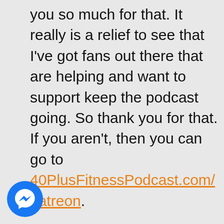you so much for that. It really is a relief to see that I've got fans out there that are helping and want to support keep the podcast going. So thank you for that. If you aren't, then you can go to 40PlusFitnessPodcast.com/patreon.
[Figure (logo): Facebook Messenger icon — blue circle with white lightning-bolt chat bubble]